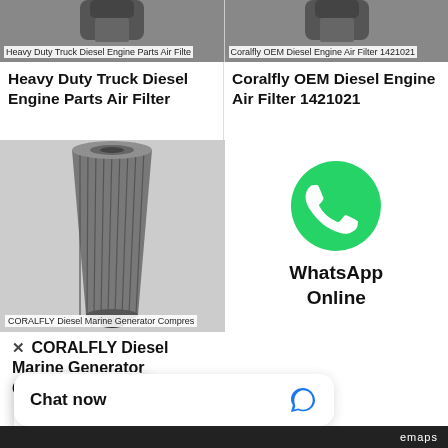[Figure (photo): Heavy Duty Truck Diesel Engine Parts Air Filter product photo (top portion visible), with label overlay at bottom]
[Figure (photo): Coralfly OEM Diesel Engine Air Filter 1421021 product photo (top portion visible), with label overlay at bottom]
Heavy Duty Truck Diesel Engine Parts Air Filter
Coralfly OEM Diesel Engine Air Filter 1421021
[Figure (photo): CORALFLY Diesel Marine Generator Compressor filter product photo showing a conical metal mesh filter element]
[Figure (logo): WhatsApp Online button with green WhatsApp phone icon]
CORALFLY Diesel Marine Generator Compressor
• • •
Chat now
emaps